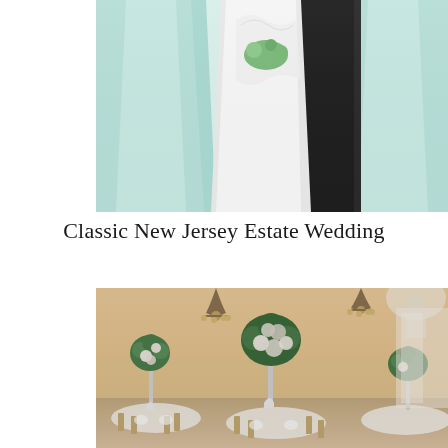[Figure (photo): Wedding party photo showing bride in white gown and groom in dark suit, flanked by bridesmaids in mint/teal flowing dresses, holding a bouquet with greenery. Cropped to show torsos only.]
Classic New Jersey Estate Wedding
[Figure (photo): Elegant wedding reception hall interior with tall floral centerpieces of white and blush flowers with greenery on silver trumpet vases, gold chiavari chairs, round tables with white linens, chandeliers, arched windows, and warm lighting.]